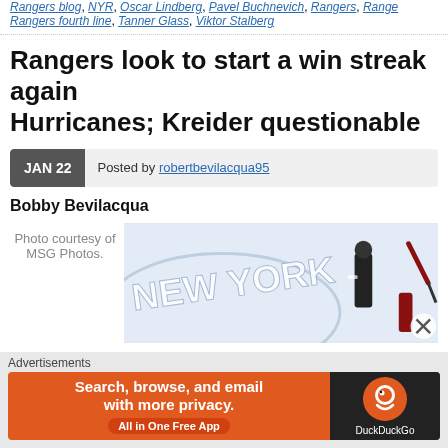Rangers blog, NYR, Oscar Lindberg, Pavel Buchnevich, Rangers, Rangers fourth line, Tanner Glass, Viktor Stalberg
Rangers look to start a win streak against Hurricanes; Kreider questionable
JAN 22   Posted by robertbevilacqua95
Bobby Bevilacqua
Photo courtesy of MSG Photos.
[Figure (photo): Ice hockey rink with 'NEW YORK' written on the ice, player and referee visible]
Advertisements
[Figure (screenshot): DuckDuckGo advertisement banner: Search, browse, and email with more privacy. All in One Free App]